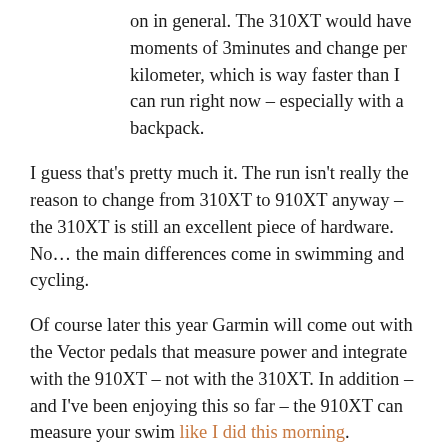on in general. The 310XT would have moments of 3minutes and change per kilometer, which is way faster than I can run right now – especially with a backpack.
I guess that's pretty much it. The run isn't really the reason to change from 310XT to 910XT anyway – the 310XT is still an excellent piece of hardware. No… the main differences come in swimming and cycling.
Of course later this year Garmin will come out with the Vector pedals that measure power and integrate with the 910XT – not with the 310XT. In addition – and I've been enjoying this so far – the 910XT can measure your swim like I did this morning.
I still need to perfect that. Generally I get distance which is about 100 meters too long on 1250 meters. That sounds like about 8% error to me. That's a bit high and I've heard about worse for the 910XT. Potentially this can be fixed in firmware later on.